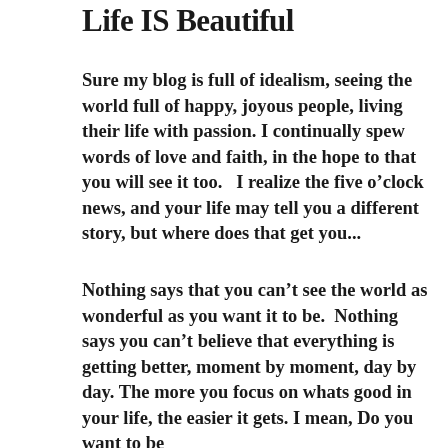Life IS Beautiful
Sure my blog is full of idealism, seeing the world full of happy, joyous people, living their life with passion. I continually spew words of love and faith, in the hope to that you will see it too.   I realize the five o’clock news, and your life may tell you a different story, but where does that get you...
Nothing says that you can’t see the world as wonderful as you want it to be.  Nothing says you can’t believe that everything is getting better, moment by moment, day by day. The more you focus on whats good in your life, the easier it gets. I mean, Do you want to be